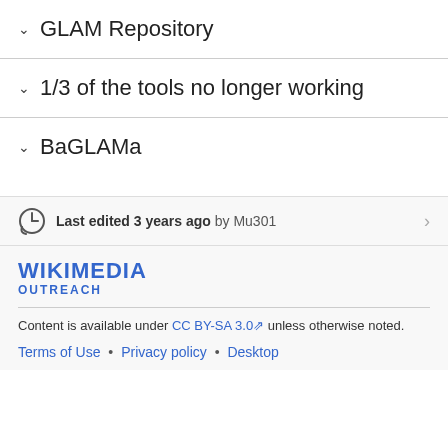✓ GLAM Repository
✓ 1/3 of the tools no longer working
✓ BaGLAMa
Last edited 3 years ago by Mu301
WIKIMEDIA OUTREACH
Content is available under CC BY-SA 3.0 unless otherwise noted.
Terms of Use • Privacy policy • Desktop